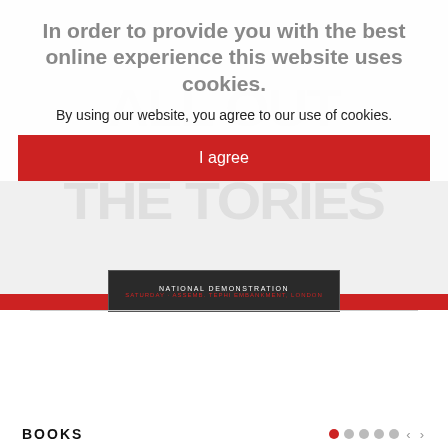In order to provide you with the best online experience this website uses cookies.
By using our website, you agree to our use of cookies.
I agree
[Figure (screenshot): National Demonstration banner strip, dark background with red and white text]
Step up the action: All out against the Tories – Counterfire Freesheet August 2022
BOOKS
[Figure (illustration): Book cover showing 'A short guide to Israeli apartheid' with red title text on white background]